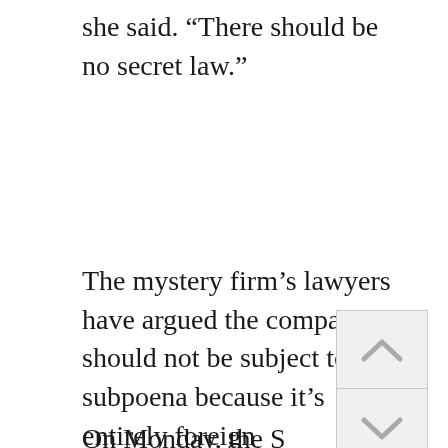she said. “There should be no secret law.”
The mystery firm’s lawyers have argued the company should not be subject to a subpoena because it’s entirely foreign government-owned and complying with the subpoena would break the foreign country’s laws.
On Monday, the S...